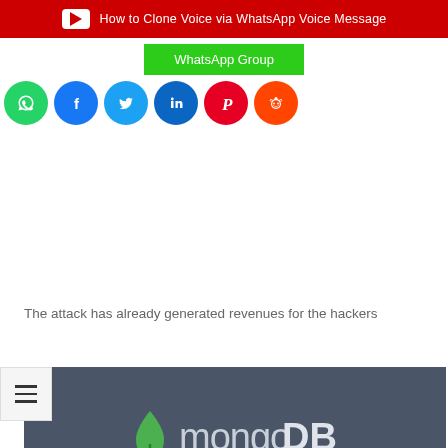[Figure (screenshot): YouTube banner with red background showing 'How to Clone Voice via WhatsApp Voice Message']
[Figure (screenshot): Green WhatsApp Group button]
[Figure (screenshot): Row of social media icons: WhatsApp, Facebook, Twitter, LinkedIn, Pinterest, Reddit]
[Figure (logo): MongoDB logo on dark slate background with tagline 'FOR GIANT IDEAS']
The attack has already generated revenues for the hackers